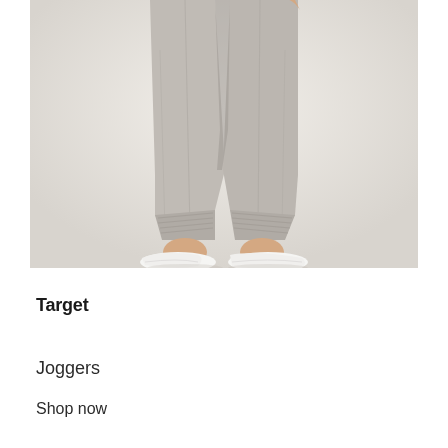[Figure (photo): Photo of a person from the torso down wearing light gray heathered jogger sweatpants with ribbed cuffs, standing in white sneakers against a white/light gray background.]
Target
Joggers
Shop now